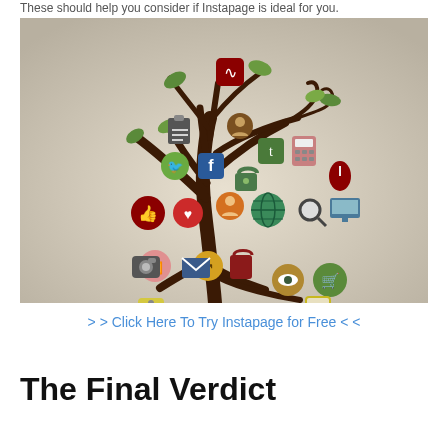These should help you consider if Instapage is ideal for you.
[Figure (illustration): A decorative tree illustration made of social media and internet icons (RSS, clipboard, Twitter bird, Facebook, lock, Tumblr, calculator, thumbs up, heart, globe, search, monitor, mouse, camera, envelope, shopping bag, share, eye, shopping cart, tablet, person/user icons) growing from a dark brown tree trunk with curling branches and green leaves, against a light beige/cream gradient background.]
> > Click Here To Try Instapage for Free < <
The Final Verdict